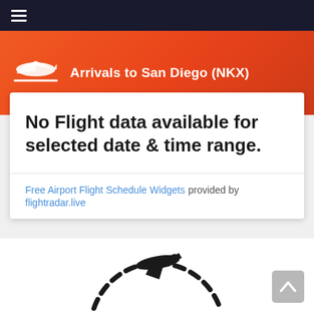Arrivals to San Diego (NKX)
No Flight data available for selected date & time range.
Free Airport Flight Schedule Widgets provided by flightradar.live
[Figure (illustration): Airplane icon with dashed circular path indicating flight route]